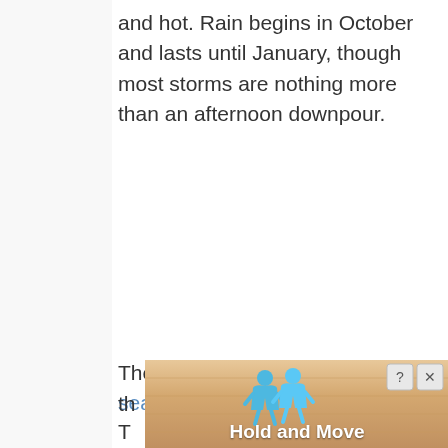and hot. Rain begins in October and lasts until January, though most storms are nothing more than an afternoon downpour.
The biggest downside to the rainy season is
[Figure (other): Advertisement banner at bottom of page showing 'Hold and Move' app/service with blue human figure icons on a sandy/wooden textured background, with close (X) and help (?) buttons in top right corner.]